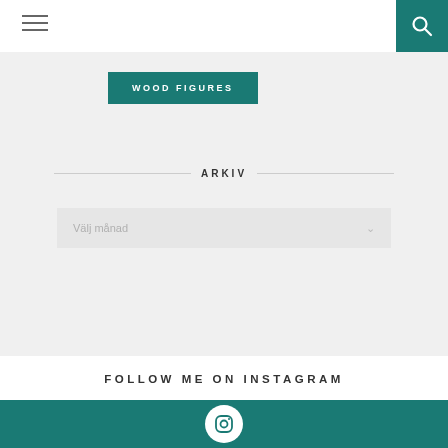Navigation bar with hamburger menu and search icon
WOOD FIGURES
ARKIV
Välj månad
FOLLOW ME ON INSTAGRAM
[Figure (illustration): Instagram icon in white circle on teal background footer]